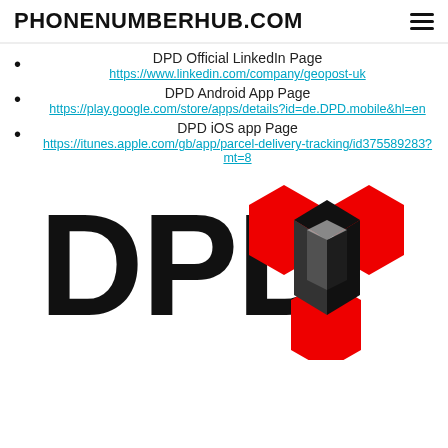PHONENUMBERHUB.COM
DPD Official LinkedIn Page
https://www.linkedin.com/company/geopost-uk
DPD Android App Page
https://play.google.com/store/apps/details?id=de.DPD.mobile&hl=en
DPD iOS app Page
https://itunes.apple.com/gb/app/parcel-delivery-tracking/id375589283?mt=8
[Figure (logo): DPD logo with text 'DPD' in bold black letters and a red and black hexagonal box icon to the right]